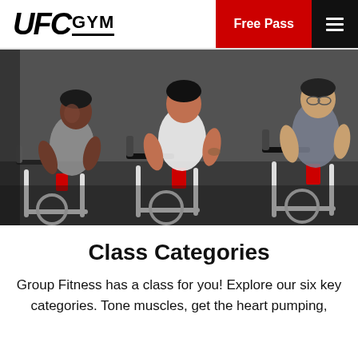[Figure (logo): UFC GYM logo in bold italic black text with GYM underlined]
Free Pass
[Figure (photo): Three people riding stationary spin bikes in a gym, focused expression, wearing workout clothes, with red and black bikes]
Class Categories
Group Fitness has a class for you! Explore our six key categories. Tone muscles, get the heart pumping, improve your flexibility and have fun.